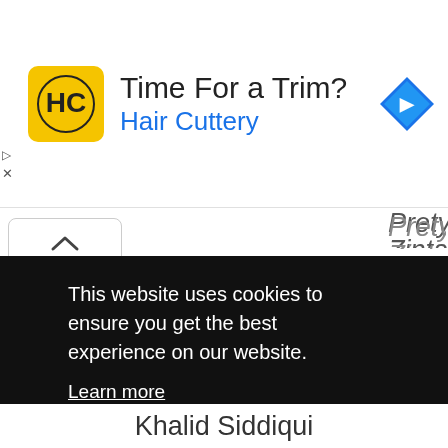[Figure (screenshot): Hair Cuttery advertisement banner with logo and navigation icon]
Prety Zinta
Sonali Kulkarni
Jackie Shroff
Puru Raaj Kumar
Vineet Sharma
Abhay Chopra
This website uses cookies to ensure you get the best experience on our website.
Learn more
Got it!
Khalid Siddiqui